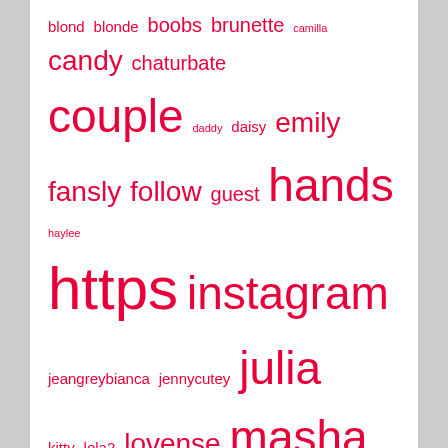[Figure (infographic): Tag cloud with words in varying sizes in red/pink color on white background: blond blonde boobs brunette camilla candy chaturbate couple daddy daisy emily fansly follow guest hands haylee https instagram jeangreybianca jennycutey julia kitty lola2 lovense masha megan melissa molly olivia onlyfans pleasure private sasha stream tattoo taylor welcome]
Hook Up Tonight
[Figure (infographic): AdultFriendFinder advertisement banner with text 'Find a New Fuck Toy Near Ashburn!' and a red 'Join for Free!' button, below which is a map showing US 15 highway near Leesburg with a thumbnail image]